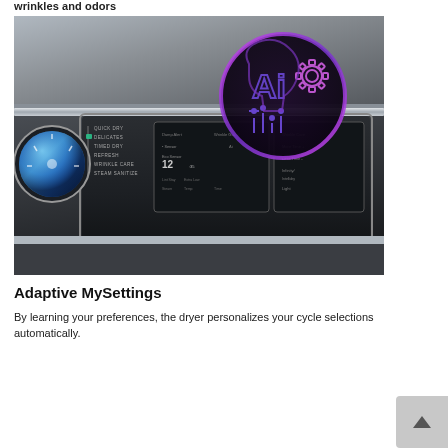wrinkles and odors
[Figure (photo): Close-up photo of a smart dryer control panel with a blue dial, cycle options listed (Quick Dry, Delicates, Timed Dry, Refresh, Wrinkle Care, Steam Sanitize), and a digital display showing AI icon. An AI icon graphic (purple/violet neon-style head with gear and circuit elements) overlays the top right of the image.]
Adaptive MySettings
By learning your preferences, the dryer personalizes your cycle selections automatically.